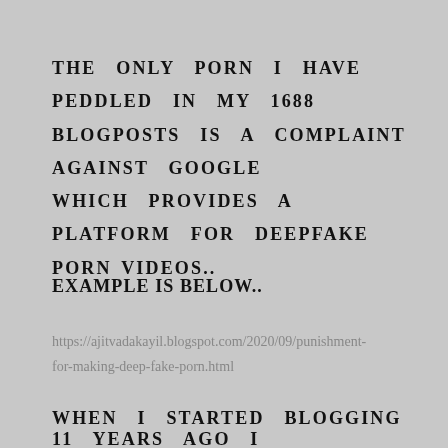THE ONLY PORN I HAVE PEDDLED IN MY 1688 BLOGPOSTS IS A COMPLAINT AGAINST GOOGLE WHICH PROVIDES A PLATFORM FOR DEEPFAKE PORN VIDEOS..
EXAMPLE IS BELOW..
https://ajitvadakayil.blogspot.com/2020/09/punishment-for-making-deep-fake-porn.html
WHEN I STARTED BLOGGING 11 YEARS AGO I